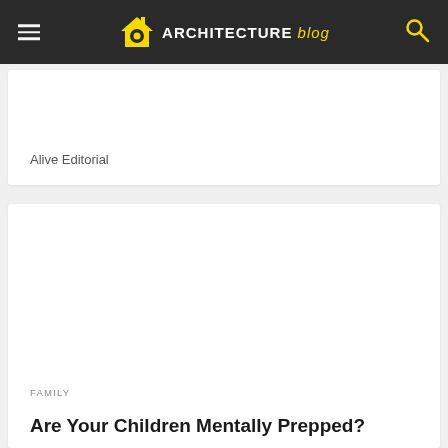ARCHITECTURE blog
Alive Editorial
FAMILY
Are Your Children Mentally Prepped?